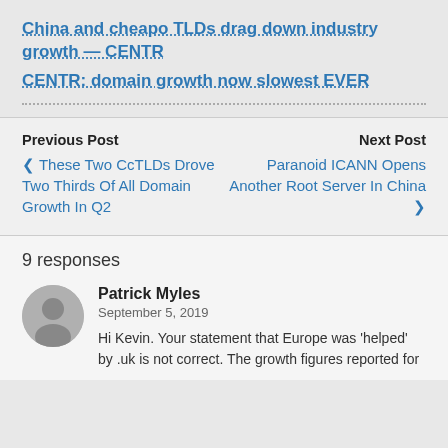China and cheapo TLDs drag down industry growth — CENTR
CENTR: domain growth now slowest EVER
Previous Post
‹ These Two CcTLDs Drove Two Thirds Of All Domain Growth In Q2
Next Post
Paranoid ICANN Opens Another Root Server In China ›
9 responses
Patrick Myles
September 5, 2019
Hi Kevin. Your statement that Europe was 'helped' by .uk is not correct. The growth figures reported for